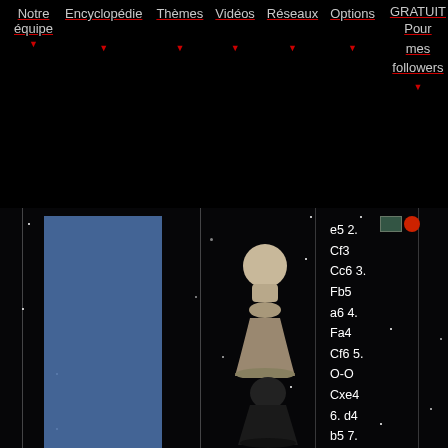Notre équipe | Encyclopédie | Thèmes | Vidéos | Réseaux | Options | GRATUIT Pour mes followers
[Figure (screenshot): Chess website screenshot with dark space background showing two chess pieces (white pawn and black piece) on a starfield background with a blue vertical sidebar panel and chess notation text on the right]
e5 2. Cf3 Cc6 3. Fb5 a6 4. Fa4 Cf6 5. O-O Cxe4 6. d4 b5 7. Fb3 d5 8. dxe5 Fe6